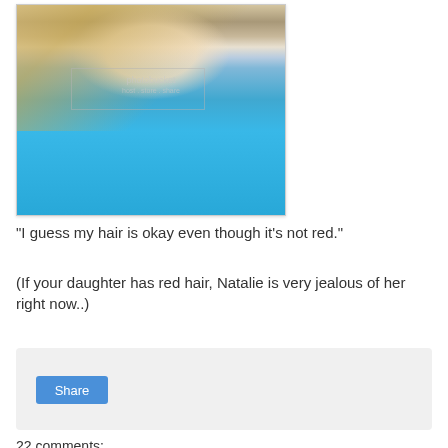[Figure (photo): A young girl with long blonde hair smiling, wearing a turquoise top with decorative neckline. A Photobucket watermark overlay is visible on the image.]
“I guess my hair is okay even though it’s not red.”
(If your daughter has red hair, Natalie is very jealous of her right now..)
Share
22 comments: